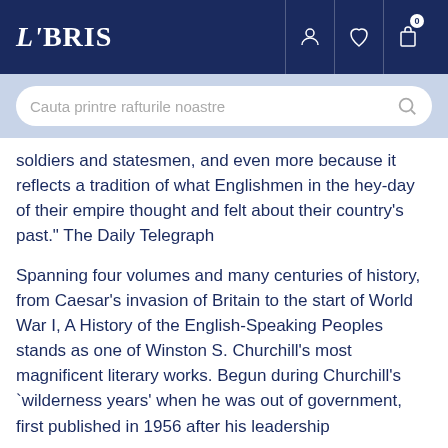LIBRIS
soldiers and statesmen, and even more because it reflects a tradition of what Englishmen in the hey-day of their empire thought and felt about their country's past." The Daily Telegraph
Spanning four volumes and many centuries of history, from Caesar's invasion of Britain to the start of World War I, A History of the English-Speaking Peoples stands as one of Winston S. Churchill's most magnificent literary works. Begun during Churchill's `wilderness years' when he was out of government, first published in 1956 after his leadership
Citeste mai mult
Detaliile produsului